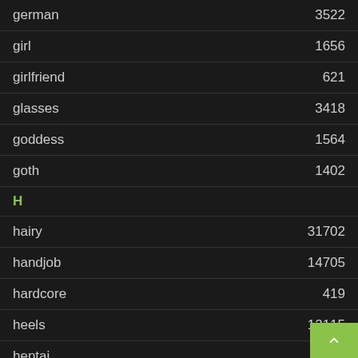german  3522
girl  1656
girlfriend  621
glasses  3418
goddess  1564
goth  1402
H
hairy  31702
handjob  14705
hardcore  419
heels  12115
hentai  266
hipsters  2169
hispanic  170
hitachi